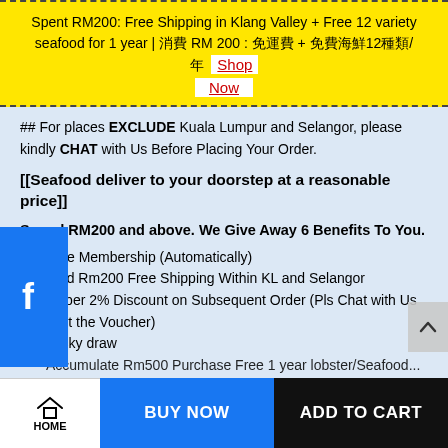Spent RM200: Free Shipping in Klang Valley + Free 12 variety seafood for 1 year | 消費 RM 200 : 免運費 + 免費海鮮12種類/年 Shop Now
## For places EXCLUDE Kuala Lumpur and Selangor, please kindly CHAT with Us Before Placing Your Order.
[[Seafood deliver to your doorstep at a reasonable price]]
Spend RM200 and above. We Give Away 6 Benefits To You.
1. Free Membership (Automatically)
Spend Rm200 Free Shipping Within KL and Selangor
Member 2% Discount on Subsequent Order (Pls Chat with Us to Get the Voucher)
4. Lucky draw
5. Accumulate Rm500 Purchase Free 1 year lobster/Seafood...
HOME | BUY NOW | ADD TO CART